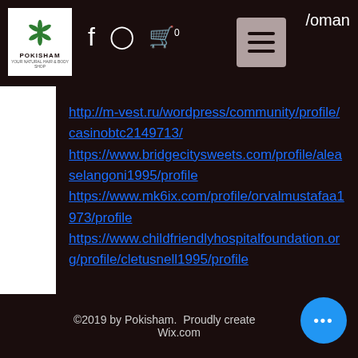[Figure (logo): Pokisham brand logo with green leaf/flower icon and text POKISHAM]
http://m-vest.ru/wordpress/community/profile/casinobtc2149713/
https://www.bridgecitysweets.com/profile/aleaselangoni1995/profile
https://www.mk6ix.com/profile/orvalmustafaa1973/profile
https://www.childfriendlyhospitalfoundation.org/profile/cletusnell1995/profile
©2019 by Pokisham. Proudly created with Wix.com